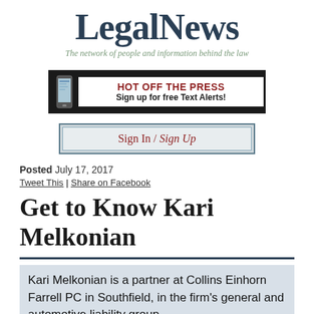LegalNews
The network of people and information behind the law
[Figure (infographic): HOT OFF THE PRESS Sign up for free Text Alerts! banner with phone icon]
[Figure (infographic): Sign In / Sign Up button]
Posted July 17, 2017
Tweet This | Share on Facebook
Get to Know Kari Melkonian
Kari Melkonian is a partner at Collins Einhorn Farrell PC in Southfield, in the firm's general and automotive liability group.